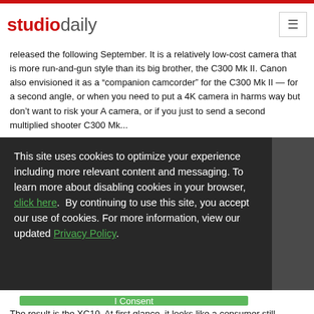studiodaily
released the following September. It is a relatively low-cost camera that is more run-and-gun style than its big brother, the C300 Mk II. Canon also envisioned it as a “companion camcorder” for the C300 Mk II — for a second angle, or when you need to put a 4K camera in harms way but don’t want to risk your A camera, or if you just to send a second multiplied shooter C300 Mk ...
This site uses cookies to optimize your experience including more relevant content and messaging. To learn more about disabling cookies in your browser, click here.  By continuing to use this site, you accept our use of cookies. For more information, view our updated Privacy Policy.
I Consent
The result is the XC10. At first glance, it looks like a consumer still camera,